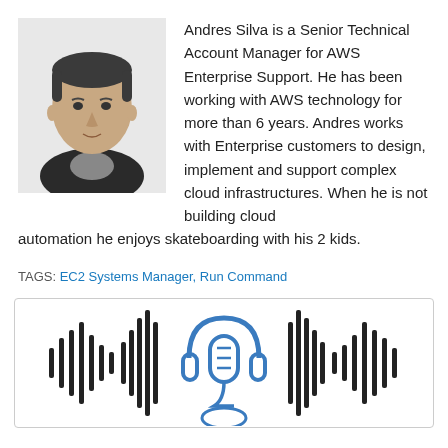[Figure (photo): Headshot photo of Andres Silva, a man wearing a dark jacket]
Andres Silva is a Senior Technical Account Manager for AWS Enterprise Support. He has been working with AWS technology for more than 6 years. Andres works with Enterprise customers to design, implement and support complex cloud infrastructures. When he is not building cloud automation he enjoys skateboarding with his 2 kids.
TAGS: EC2 Systems Manager, Run Command
[Figure (illustration): Podcast microphone with headphones icon surrounded by sound wave bars, in blue and black outline style]